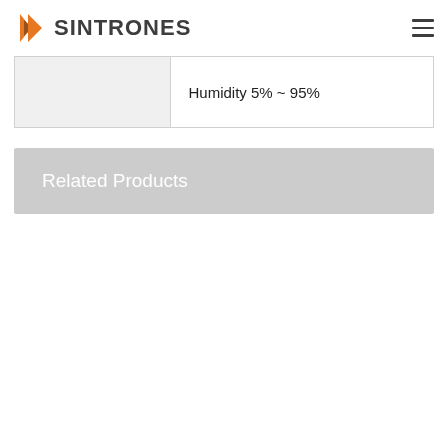[Figure (logo): Sintrones logo with orange arrow icon and dark grey SINTRONES text]
|  | Humidity 5% ~ 95% |
Related Products